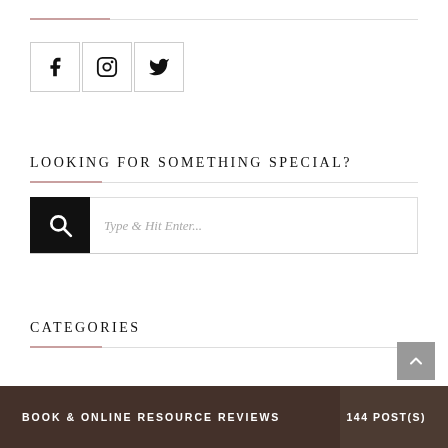[Figure (other): Social media icons: Facebook, Instagram, Twitter in bordered square boxes]
LOOKING FOR SOMETHING SPECIAL?
[Figure (other): Search bar with black search icon box and placeholder text 'Type & Hit Enter...']
CATEGORIES
[Figure (other): Category banner showing 'BOOK & ONLINE RESOURCE REVIEWS' with '144 POST(S)' on dark background with book imagery]